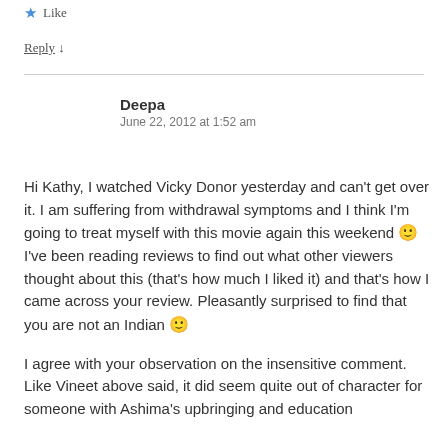★ Like
Reply ↓
Deepa
June 22, 2012 at 1:52 am
Hi Kathy, I watched Vicky Donor yesterday and can't get over it. I am suffering from withdrawal symptoms and I think I'm going to treat myself with this movie again this weekend 🙂 I've been reading reviews to find out what other viewers thought about this (that's how much I liked it) and that's how I came across your review. Pleasantly surprised to find that you are not an Indian 🙂
I agree with your observation on the insensitive comment. Like Vineet above said, it did seem quite out of character for someone with Ashima's upbringing and education